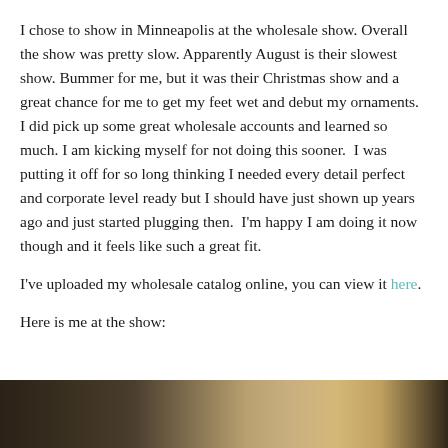I chose to show in Minneapolis at the wholesale show. Overall the show was pretty slow. Apparently August is their slowest show. Bummer for me, but it was their Christmas show and a great chance for me to get my feet wet and debut my ornaments.  I did pick up some great wholesale accounts and learned so much. I am kicking myself for not doing this sooner.  I was putting it off for so long thinking I needed every detail perfect and corporate level ready but I should have just shown up years ago and just started plugging then.  I'm happy I am doing it now though and it feels like such a great fit.
I've uploaded my wholesale catalog online, you can view it here.
Here is me at the show:
[Figure (photo): Bottom portion of a photo showing what appears to be a show booth or table with warm lighting, partially visible]